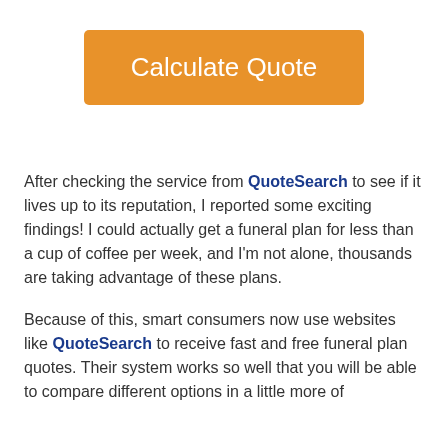[Figure (other): Orange 'Calculate Quote' button]
After checking the service from QuoteSearch to see if it lives up to its reputation, I reported some exciting findings! I could actually get a funeral plan for less than a cup of coffee per week, and I'm not alone, thousands are taking advantage of these plans.
Because of this, smart consumers now use websites like QuoteSearch to receive fast and free funeral plan quotes. Their system works so well that you will be able to compare different options in a little more of